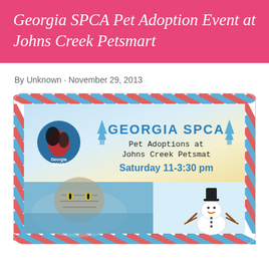Georgia SPCA Pet Adoption Event at Johns Creek Petsmart
By Unknown · November 29, 2013
[Figure (illustration): Georgia SPCA event flyer styled as a striped border card with red/blue diagonal stripes. Inside: Georgia SPCA logo (circle with dog and cat silhouette over Georgia state shape), blue pine tree icons flanking 'GEORGIA SPCA' text in bold blue, 'Pet Adoptions at Johns Creek Petsmat' in monospace, 'Saturday 11-3:30 pm' in bold blue. Bottom half shows a tabby kitten photo on the left and a cartoon snowman on the right.]